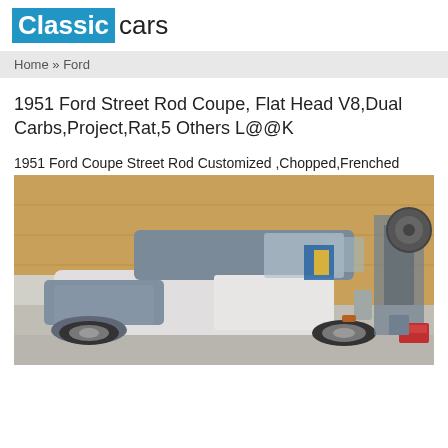Classic cars
Home » Ford
1951 Ford Street Rod Coupe, Flat Head V8,Dual Carbs,Project,Rat,5 Others L@@K
1951 Ford Coupe Street Rod Customized ,Chopped,Frenched
[Figure (photo): A 1951 Ford Coupe Street Rod in a garage, partially painted in blue and white primer, showing customization work in progress. The car is chopped and frenched. Garage interior with wooden walls visible in background.]